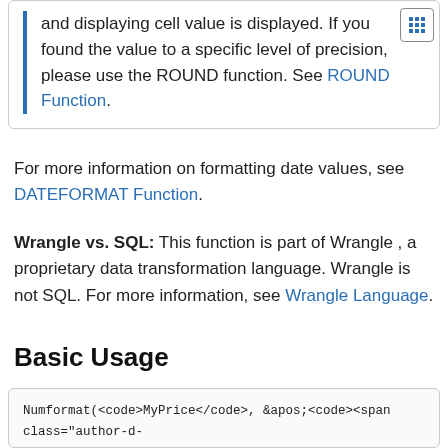and displaying cell value is displayed. If you found the value to a specific level of precision, please use the ROUND function. See ROUND Function.
For more information on formatting date values, see DATEFORMAT Function.
Wrangle vs. SQL: This function is part of Wrangle , a proprietary data transformation language. Wrangle is not SQL. For more information, see Wrangle Language.
Basic Usage
Numformat(<code>MyPrice</code>, &apos;<code><span class="author-d-1gg9uz65z1iz85zgdz68zmqkz84zo2qowz82zfhz88zz69zyz82z4z74z55g8rhz76zh7z67zk5z79zg5u1s77pz89z h-1dquo">$ </span>